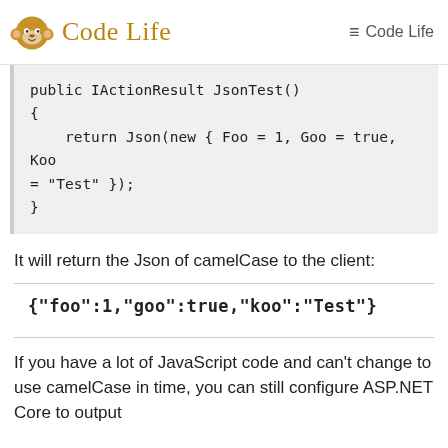Code Life  ≡ Code Life
public IActionResult JsonTest()
{
    return Json(new { Foo = 1, Goo = true, Koo = "Test" });
}
It will return the Json of camelCase to the client:
{"foo":1,"goo":true,"koo":"Test"}
If you have a lot of JavaScript code and can't change to use camelCase in time, you can still configure ASP.NET Core to output